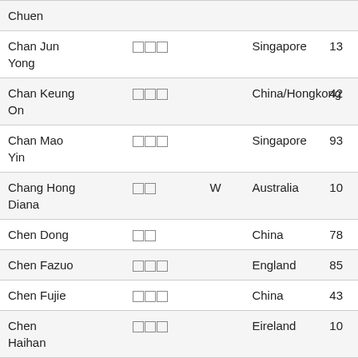| Name | Characters | Suffix | Country | Number |
| --- | --- | --- | --- | --- |
| Chuen | □□□ |  |  |  |
| Chan Jun Yong | □□□ |  | Singapore | 13 |
| Chan Keung On | □□□ |  | China/Hongkong | 42 |
| Chan Mao Yin | □□□ |  | Singapore | 93 |
| Chang Hong Diana | □□ | W | Australia | 10 |
| Chen Dong | □□ |  | China | 78 |
| Chen Fazuo | □□□ |  | England | 85 |
| Chen Fujie | □□□ |  | China | 43 |
| Chen Haihan | □□□ |  | Eireland | 10 |
| Chen Hongsheng | □□□ |  | Canada | 28 |